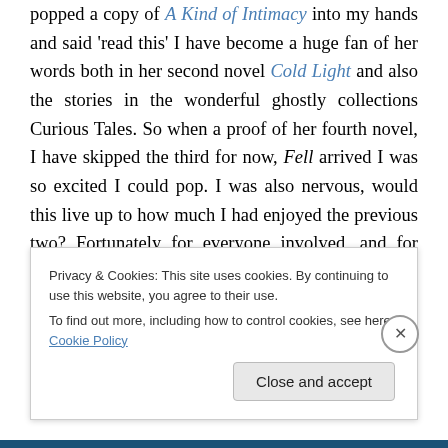popped a copy of A Kind of Intimacy into my hands and said 'read this' I have become a huge fan of her words both in her second novel Cold Light and also the stories in the wonderful ghostly collections Curious Tales. So when a proof of her fourth novel, I have skipped the third for now, Fell arrived I was so excited I could pop. I was also nervous, would this live up to how much I had enjoyed the previous two? Fortunately for everyone involved, and for those of you yet to read it, I think that Fell might be the best book I have read by Jenn and also one of the best
Privacy & Cookies: This site uses cookies. By continuing to use this website, you agree to their use. To find out more, including how to control cookies, see here: Cookie Policy